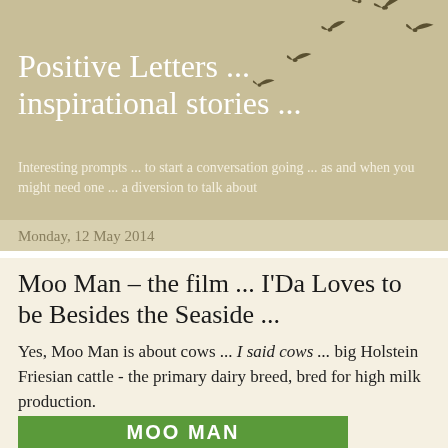[Figure (illustration): Silhouettes of birds in flight against a warm beige background, scattered across the upper right portion of the header]
Positive Letters ... inspirational stories ...
Interesting prompts ... to start a conversation going ... as and when you might need one ... a diversion to talk about
Monday, 12 May 2014
Moo Man – the film ... I'Da Loves to be Besides the Seaside ...
Yes, Moo Man is about cows ... I said cows ... big Holstein Friesian cattle - the primary dairy breed, bred for high milk production.
[Figure (photo): Partial image of a Moo Man film poster with green background and white text]